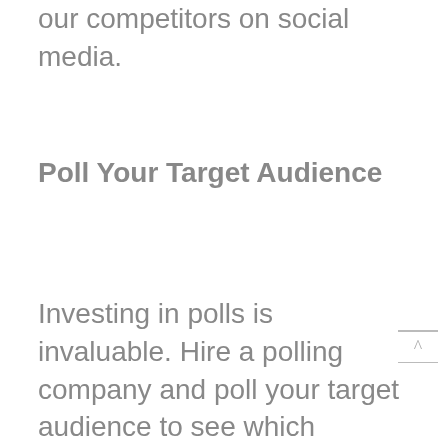our competitors on social media.
Poll Your Target Audience
Investing in polls is invaluable. Hire a polling company and poll your target audience to see which networks they actually use. You might find out that they actually aren't on Facebook at all and you can redirect that money and time to other networks.